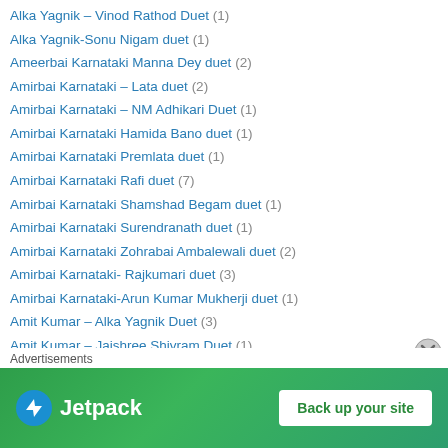Alka Yagnik – Vinod Rathod Duet (1)
Alka Yagnik-Sonu Nigam duet (1)
Ameerbai Karnataki Manna Dey duet (2)
Amirbai Karnataki – Lata duet (2)
Amirbai Karnataki – NM Adhikari Duet (1)
Amirbai Karnataki Hamida Bano duet (1)
Amirbai Karnataki Premlata duet (1)
Amirbai Karnataki Rafi duet (7)
Amirbai Karnataki Shamshad Begam duet (1)
Amirbai Karnataki Surendranath duet (1)
Amirbai Karnataki Zohrabai Ambalewali duet (2)
Amirbai Karnataki- Rajkumari duet (3)
Amirbai Karnataki-Arun Kumar Mukherji duet (1)
Amit Kumar – Alka Yagnik Duet (3)
Amit Kumar – Jaishree Shivram Duet (1)
Amit Kumar – Kavita Krishnamurty Duet (1)
Amit Kumar Sudesh Bhonsle duet (1)
Advertisements
[Figure (infographic): Jetpack advertisement banner with green background showing Jetpack logo and 'Back up your site' button]